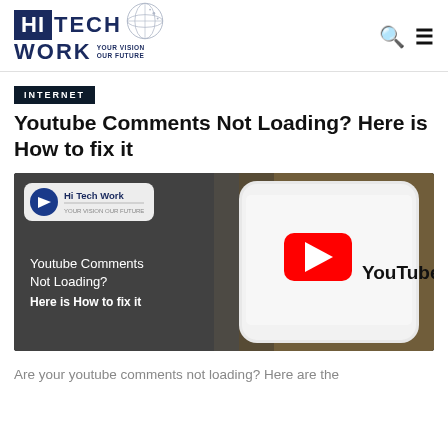HI TECH WORK — YOUR VISION OUR FUTURE
INTERNET
Youtube Comments Not Loading? Here is How to fix it
[Figure (photo): Branded thumbnail image showing a smartphone with YouTube logo, and text overlay: 'Youtube Comments Not Loading? Here is How to fix it' with Hi Tech Work logo.]
Are your youtube comments not loading? Here are the